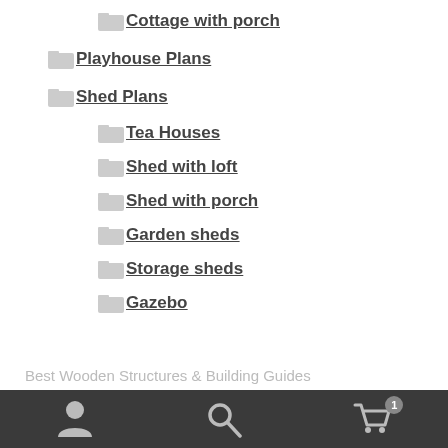Cottage with porch
Playhouse Plans
Shed Plans
Tea Houses
Shed with loft
Shed with porch
Garden sheds
Storage sheds
Gazebo
Best Wooden Structures & Building Guides